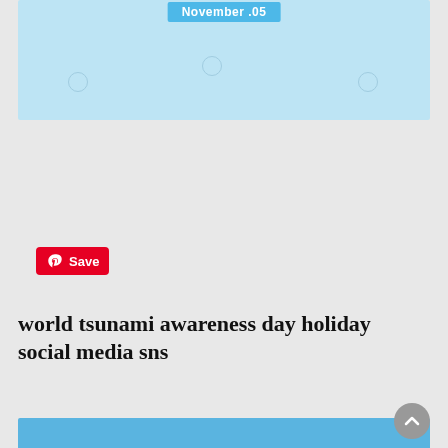[Figure (screenshot): Top portion of a web page showing a light blue image strip with 'November .05' badge and decorative dots]
[Figure (screenshot): Pinterest red Save button with Pinterest logo]
[Figure (screenshot): Green Download button with underlined text]
world tsunami awareness day holiday social media sns
[Figure (infographic): World Tsunami Awareness Day poster with blue background, gold 'WORLD TSUNAMI' text, white bold 'AWARENESS DAY' text, yellow badge '-NOVEMBER 05-', and wave illustration at bottom]
[Figure (screenshot): Gray scroll-to-top circular button with upward arrow]